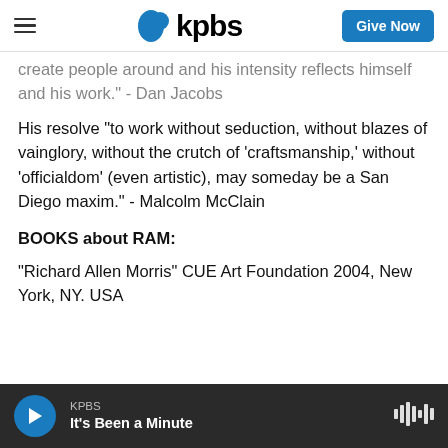KPBS | Give Now
create people around and his intensity reflects himself and his work." - Dan Jacobs
His resolve "to work without seduction, without blazes of vainglory, without the crutch of 'craftsmanship,' without 'officialdom' (even artistic), may someday be a San Diego maxim." - Malcolm McClain
BOOKS about RAM:
"Richard Allen Morris" CUE Art Foundation 2004, New York, NY. USA
KPBS | It's Been a Minute